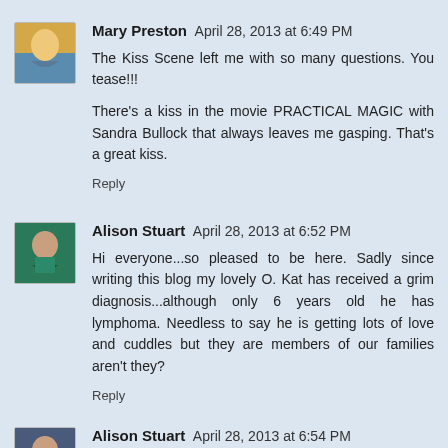Mary Preston  April 28, 2013 at 6:49 PM
The Kiss Scene left me with so many questions. You tease!!!

There's a kiss in the movie PRACTICAL MAGIC with Sandra Bullock that always leaves me gasping. That's a great kiss.

Reply
Alison Stuart  April 28, 2013 at 6:52 PM
Hi everyone...so pleased to be here. Sadly since writing this blog my lovely O. Kat has received a grim diagnosis...although only 6 years old he has lymphoma. Needless to say he is getting lots of love and cuddles but they are members of our families aren't they?

Reply
Alison Stuart  April 28, 2013 at 6:54 PM